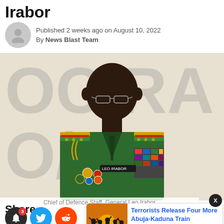Irabor
Published 2 weeks ago on August 10, 2022
By News Blast Team
[Figure (photo): Chief of Defence Staff, General Leo Irabor, in military green uniform with medals, speaking at an event with large letters in background]
Chief of Defence Staff, General Leo Irabor
Share
[Figure (photo): Terrorists Release Four More Abuja-Kaduna Train related article thumbnail showing armed silhouettes]
Terrorists Release Four More Abuja-Kaduna Train
1 day ago